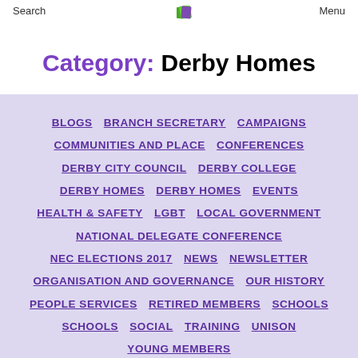Search   Menu
Category: Derby Homes
BLOGS
BRANCH SECRETARY
CAMPAIGNS
COMMUNITIES AND PLACE
CONFERENCES
DERBY CITY COUNCIL
DERBY COLLEGE
DERBY HOMES
DERBY HOMES
EVENTS
HEALTH & SAFETY
LGBT
LOCAL GOVERNMENT
NATIONAL DELEGATE CONFERENCE
NEC ELECTIONS 2017
NEWS
NEWSLETTER
ORGANISATION AND GOVERNANCE
OUR HISTORY
PEOPLE SERVICES
RETIRED MEMBERS
SCHOOLS
SCHOOLS
SOCIAL
TRAINING
UNISON
YOUNG MEMBERS